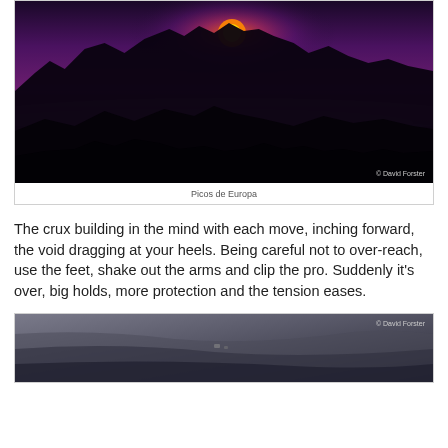[Figure (photo): Dramatic sunset photograph of Picos de Europa mountains with purple and red sky, sun visible above jagged peaks, mist in valleys, dark silhouetted mountains. Photo credit: © David Forster]
Picos de Europa
The crux building in the mind with each move, inching forward, the void dragging at your heels. Being careful not to over-reach, use the feet, shake out the arms and clip the pro. Suddenly it's over, big holds, more protection and the tension eases.
[Figure (photo): Aerial photograph of rocky mountain terrain with climbers visible on a large rock face/summit area. Photo credit: © David Forster]